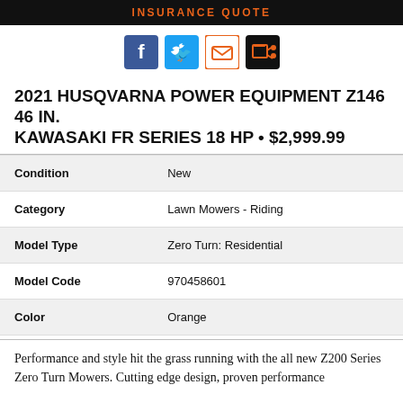INSURANCE QUOTE
2021 HUSQVARNA POWER EQUIPMENT Z146 46 IN. KAWASAKI FR SERIES 18 HP • $2,999.99
| Field | Value |
| --- | --- |
| Condition | New |
| Category | Lawn Mowers - Riding |
| Model Type | Zero Turn: Residential |
| Model Code | 970458601 |
| Color | Orange |
Performance and style hit the grass running with the all new Z200 Series Zero Turn Mowers. Cutting edge design, proven performance